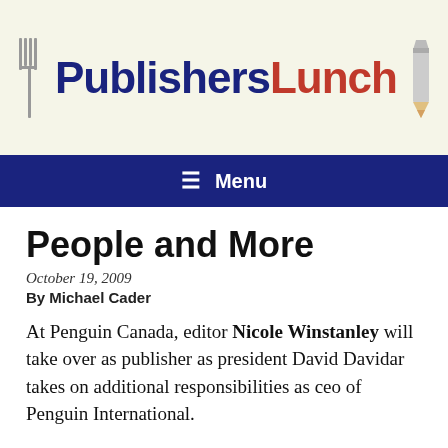[Figure (logo): PublishersLunch logo with fork icon on left and pencil icon on right. 'Publishers' in dark navy bold, 'Lunch' in red bold, on a cream/beige background.]
Menu
People and More
October 19, 2009
By Michael Cader
At Penguin Canada, editor Nicole Winstanley will take over as publisher as president David Davidar takes on additional responsibilities as ceo of Penguin International.